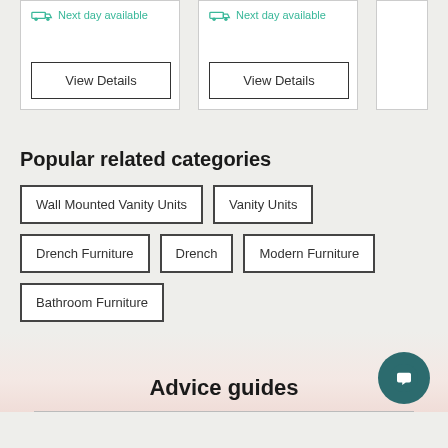[Figure (screenshot): Two product cards with 'Next day available' labels in teal and 'View Details' buttons, partially visible third card on the right]
Popular related categories
Wall Mounted Vanity Units
Vanity Units
Drench Furniture
Drench
Modern Furniture
Bathroom Furniture
Advice guides